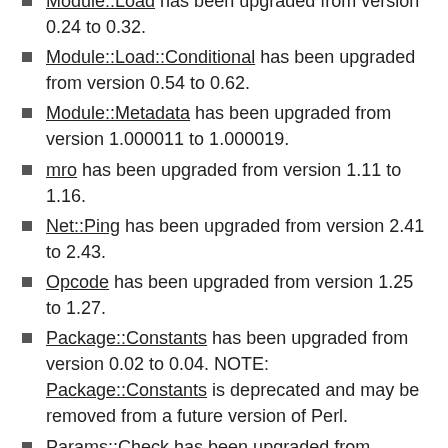Module::Load has been upgraded from version 0.24 to 0.32.
Module::Load::Conditional has been upgraded from version 0.54 to 0.62.
Module::Metadata has been upgraded from version 1.000011 to 1.000019.
mro has been upgraded from version 1.11 to 1.16.
Net::Ping has been upgraded from version 2.41 to 2.43.
Opcode has been upgraded from version 1.25 to 1.27.
Package::Constants has been upgraded from version 0.02 to 0.04. NOTE: Package::Constants is deprecated and may be removed from a future version of Perl.
Params::Check has been upgraded from version 0.36 to 0.38.
parent has been upgraded from version 0.225 to 0.228.
Parse::CPAN::Meta has been upgraded from...